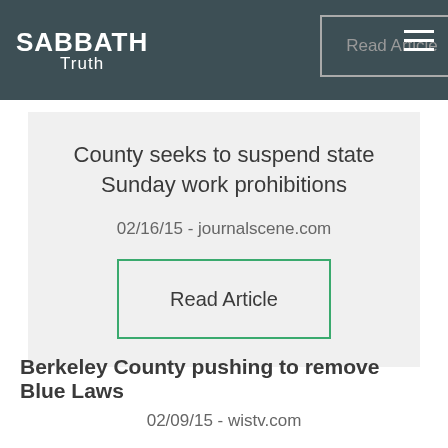SABBATH Truth
County seeks to suspend state Sunday work prohibitions
02/16/15  -  journalscene.com
Read Article
Berkeley County pushing to remove Blue Laws
02/09/15  -  wistv.com